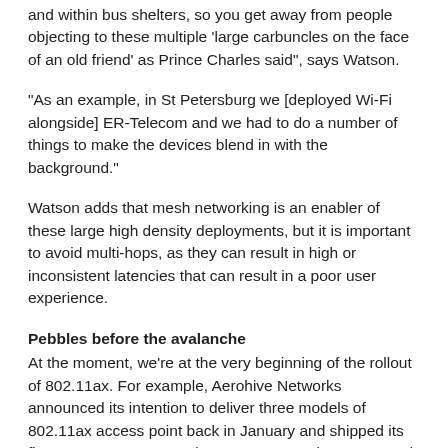and within bus shelters, so you get away from people objecting to these multiple 'large carbuncles on the face of an old friend' as Prince Charles said", says Watson.
“As an example, in St Petersburg we [deployed Wi-Fi alongside] ER-Telecom and we had to do a number of things to make the devices blend in with the background.”
Watson adds that mesh networking is an enabler of these large high density deployments, but it is important to avoid multi-hops, as they can result in high or inconsistent latencies that can result in a poor user experience.
Pebbles before the avalanche
At the moment, we’re at the very beginning of the rollout of 802.11ax. For example, Aerohive Networks announced its intention to deliver three models of 802.11ax access point back in January and shipped its first 802.11ax access points to customers in Europe and US in late July. In addition, Ruckus Networks launched its R370 802.11ax access point on July 17 – which is designed to deliver high-resolution, latency-sensitive video in ultra-high density environments. Huawei launched its